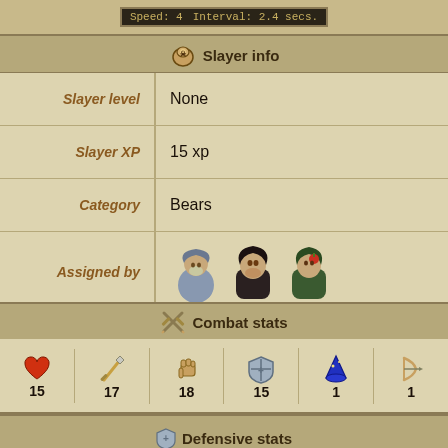[Figure (screenshot): Speed: 4  Interval: 2.4 secs. status bar at top]
Slayer info
| Field | Value |
| --- | --- |
| Slayer level | None |
| Slayer XP | 15 xp |
| Category | Bears |
| Assigned by | [NPC icons] |
Combat stats
| HP | Attack | Strength | Defence | Magic | Ranged |
| --- | --- | --- | --- | --- | --- |
| 15 | 17 | 18 | 15 | 1 | 1 |
Aggressive stats
| Stab | Slash | Magic | Magic str | Ranged | Ranged str |
| --- | --- | --- | --- | --- | --- |
| +0 | +0 | +0 | +0 | +0 | +0 |
Defensive stats